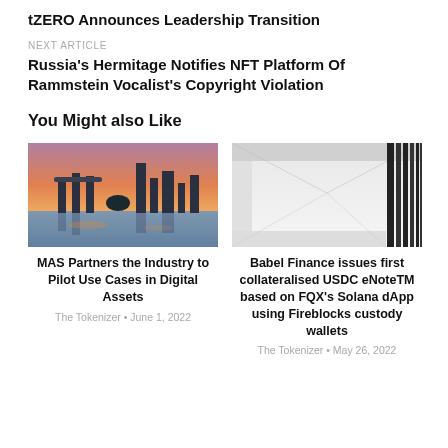tZERO Announces Leadership Transition
NEXT ARTICLE
Russia's Hermitage Notifies NFT Platform Of Rammstein Vocalist's Copyright Violation
You Might also Like
[Figure (photo): City skyline at dusk with modern skyscrapers reflecting over water, warm orange and purple sky]
MAS Partners the Industry to Pilot Use Cases in Digital Assets
The Tokenizer • June 1, 2022
[Figure (photo): Minimalist architectural interior with vertical black bars against a white wall and ceiling]
Babel Finance issues first collateralised USDC eNoteTM based on FQX's Solana dApp using Fireblocks custody wallets
The Tokenizer • May 26, 2022